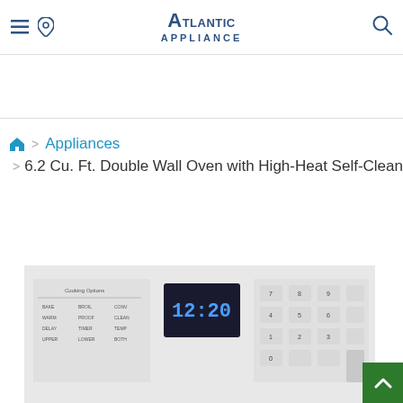Atlantic Appliance — navigation header with menu, location, and search icons
Appliances > 6.2 Cu. Ft. Double Wall Oven with High-Heat Self-Cleaning
[Figure (photo): Partial view of a white double wall oven control panel with digital display showing 12:20, cooking buttons, and numeric keypad]
Back to top button (green arrow)